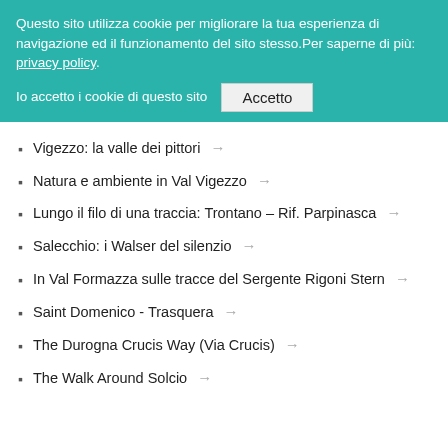Questo sito utilizza cookie per migliorare la tua esperienza di navigazione ed il funzionamento del sito stesso.Per saperne di più: privacy policy.
Io accetto i cookie di questo sito  Accetto
Vigezzo: la valle dei pittori →
Natura e ambiente in Val Vigezzo →
Lungo il filo di una traccia: Trontano – Rif. Parpinasca →
Salecchio: i Walser del silenzio →
In Val Formazza sulle tracce del Sergente Rigoni Stern →
Saint Domenico - Trasquera →
The Durogna Crucis Way (Via Crucis) →
The Walk Around Solcio →